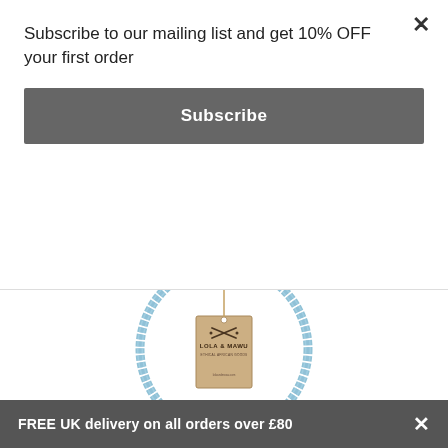Subscribe to our mailing list and get 10% OFF your first order
Subscribe
[Figure (photo): A blue glass bead necklace arranged in a circle on a white background with a brown kraft paper Lola & Mawu brand tag hanging in the center]
FREE UK delivery on all orders over £80